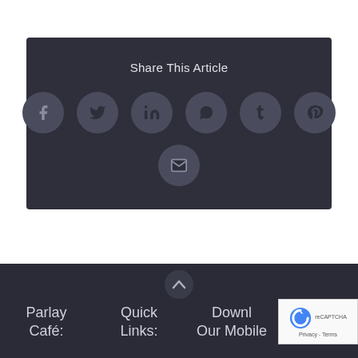Share This Article
[Figure (infographic): Social share buttons: Facebook, Twitter, LinkedIn, WhatsApp, Tumblr, Pinterest (row), and Email (centered below)]
Parlay Café:
Quick Links:
Download Our Mobile